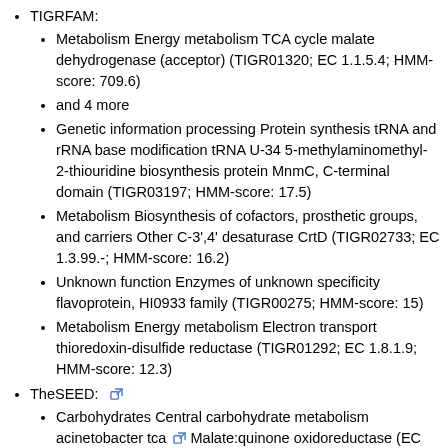TIGRFAM:
Metabolism Energy metabolism TCA cycle malate dehydrogenase (acceptor) (TIGR01320; EC 1.1.5.4; HMM-score: 709.6)
and 4 more
Genetic information processing Protein synthesis tRNA and rRNA base modification tRNA U-34 5-methylaminomethyl-2-thiouridine biosynthesis protein MnmC, C-terminal domain (TIGR03197; HMM-score: 17.5)
Metabolism Biosynthesis of cofactors, prosthetic groups, and carriers Other C-3',4' desaturase CrtD (TIGR02733; EC 1.3.99.-; HMM-score: 16.2)
Unknown function Enzymes of unknown specificity flavoprotein, HI0933 family (TIGR00275; HMM-score: 15)
Metabolism Energy metabolism Electron transport thioredoxin-disulfide reductase (TIGR01292; EC 1.8.1.9; HMM-score: 12.3)
TheSEED:
Carbohydrates Central carbohydrate metabolism acinetobacter tca Malate:quinone oxidoreductase (EC 1.1.5.4)
and 1 more
TCA Cycle Malate:quinone oxidoreductase (EC 1.1.5.4)